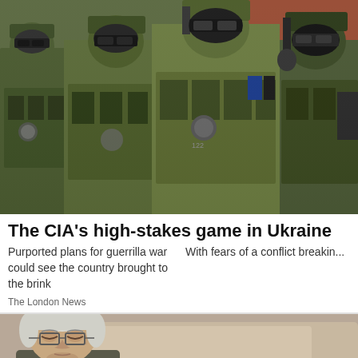[Figure (photo): Four soldiers in full camouflage tactical gear, helmets, balaclavas, and sunglasses standing together. Military equipment and vests visible.]
The CIA's high-stakes game in Ukraine
Purported plans for guerrilla war could see the country brought to the brink    With fears of a conflict breakin...
The London News
[Figure (photo): Elderly man with white hair and glasses, eyes closed or looking down, seated in front of a light-colored background.]